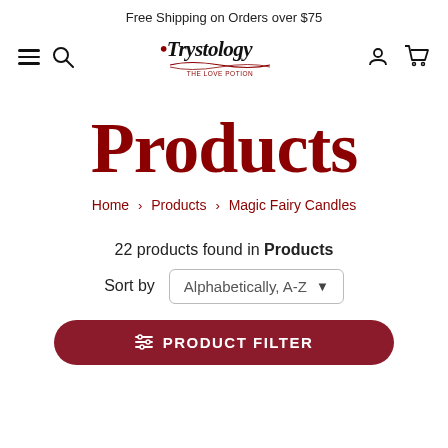Free Shipping on Orders over $75
[Figure (logo): Trystology brand logo with cursive/serif font and small red tagline text below]
Products
Home > Products > Magic Fairy Candles
22 products found in Products
Sort by  Alphabetically, A-Z
PRODUCT FILTER